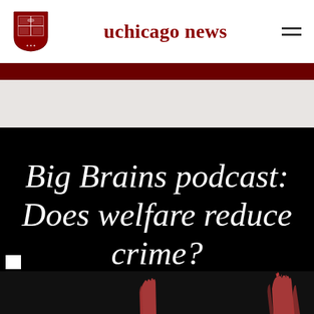uchicago news
[Figure (logo): University of Chicago shield logo]
Big Brains podcast: Does welfare reduce crime?
[Figure (photo): Dark background with raised hands visible at the bottom of the image]